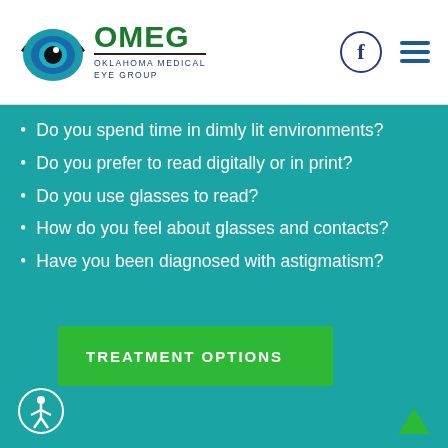[Figure (logo): Oklahoma Medical Eye Group (OMEG) logo with stylized eye graphic]
Do you spend time in dimly lit environments?
Do you prefer to read digitally or in print?
Do you use glasses to read?
How do you feel about glasses and contacts?
Have you been diagnosed with astigmatism?
TREATMENT OPTIONS